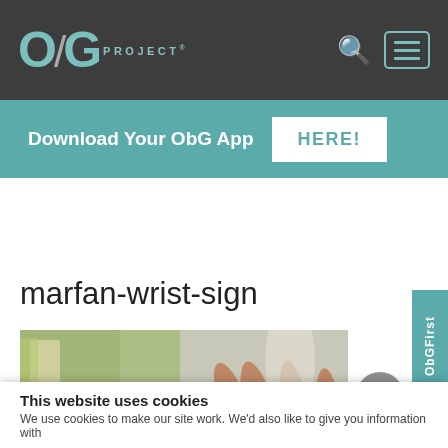ObG PROJECT® [navigation bar with search and menu icons]
Download Your ObG App HERE!
marfan-wrist-sign
[Figure (photo): Close-up photo of a hand with a ring on one finger, resting on a surface, related to the Marfan wrist sign clinical test]
This website uses cookies
We use cookies to make our site work. We'd also like to give you information with...